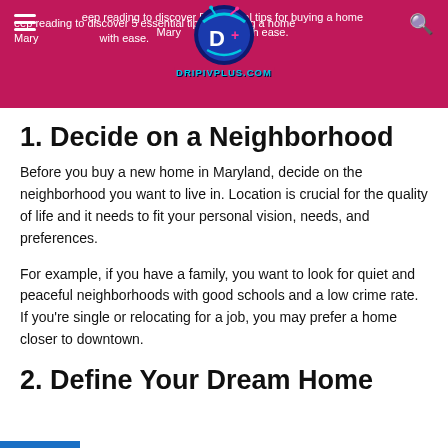Keep reading to discover 5 essential tips for buying a home in Maryland with ease.
[Figure (logo): DripIVPlus.com logo — circular logo with D+ icon and text DRIPIVPLUS.COM below]
1. Decide on a Neighborhood
Before you buy a new home in Maryland, decide on the neighborhood you want to live in. Location is crucial for the quality of life and it needs to fit your personal vision, needs, and preferences.
For example, if you have a family, you want to look for quiet and peaceful neighborhoods with good schools and a low crime rate. If you're single or relocating for a job, you may prefer a home closer to downtown.
2. Define Your Dream Home